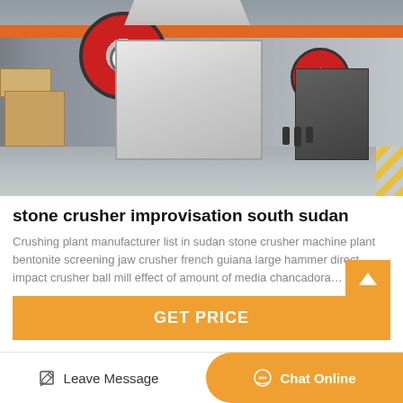[Figure (photo): A large white jaw crusher machine in an industrial warehouse/factory setting with grey floor, orange overhead crane beam, and additional dark crusher machines visible in the background.]
stone crusher improvisation south sudan
Crushing plant manufacturer list in sudan stone crusher machine plant bentonite screening jaw crusher french guiana large hammer direct impact crusher ball mill effect of amount of media chancadora…
[Figure (other): GET PRICE orange button with scroll-to-top arrow button]
Leave Message | Chat Online